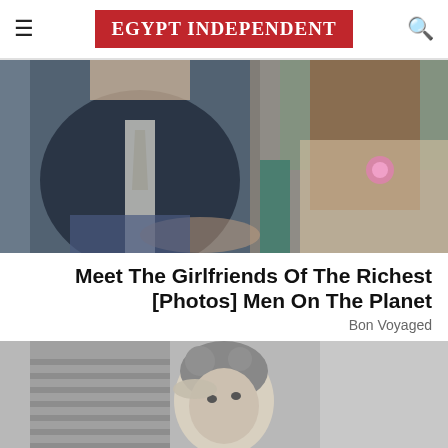EGYPT INDEPENDENT
[Figure (photo): A man in a dark suit sitting next to a woman with long brown hair wearing a pink flower, both seated]
Meet The Girlfriends Of The Richest [Photos] Men On The Planet
Bon Voyaged
[Figure (photo): A black and white vintage photo of a young woman sitting at a desk, resting her head on her hand, with venetian blinds in the background]